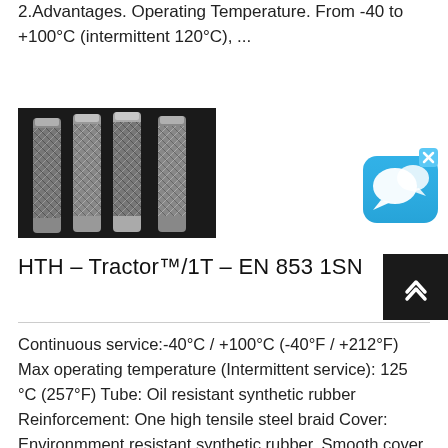2.Advantages. Operating Temperature. From -40 to +100°C (intermittent 120°C), ...
[Figure (photo): Photo of stainless steel braided flexible hoses with fittings, arranged in a row against dark background]
[Figure (screenshot): Blue chat/messaging app icon with speech bubbles, with X close button in top right corner]
HTH – Tractor™/1T – EN 853 1SN
Continuous service:-40°C / +100°C (-40°F / +212°F) Max operating temperature (Intermittent service): 125 °C (257°F) Tube: Oil resistant synthetic rubber Reinforcement: One high tensile steel braid Cover: Environmment resistant synthetic rubber. Smooth cover